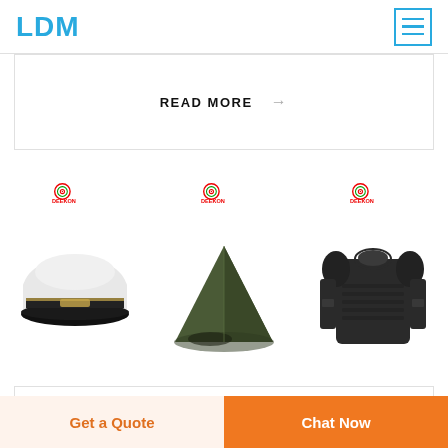LDM
READ MORE →
[Figure (photo): Three product images with DEEKON brand logos: a white military/naval captain's hat, a dark olive/green military tent, and a dark gray tactical bullet-proof vest/body armor]
ALUMINUM - OUTDOOR HANDRAILS - DECK
Get a Quote
Chat Now